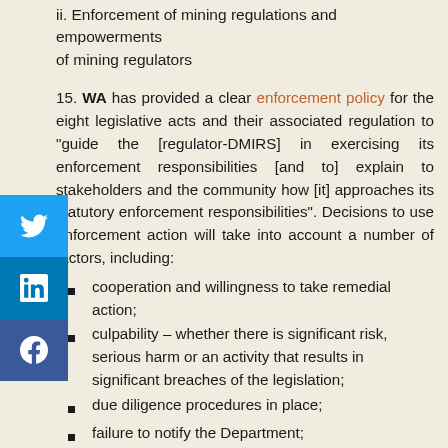ii. Enforcement of mining regulations and empowerments of mining regulators
15. WA has provided a clear enforcement policy for the eight legislative acts and their associated regulation to "guide the [regulator-DMIRS] in exercising its enforcement responsibilities [and to] explain to stakeholders and the community how [it] approaches its statutory enforcement responsibilities". Decisions to use enforcement action will take into account a number of factors, including:
cooperation and willingness to take remedial action;
culpability – whether there is significant risk, serious harm or an activity that results in significant breaches of the legislation;
due diligence procedures in place;
failure to notify the Department;
failure to comply with either a legal direction or...